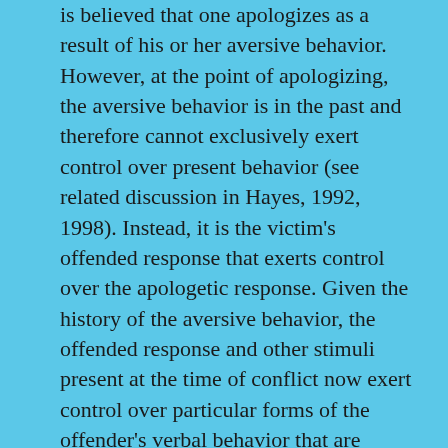is believed that one apologizes as a result of his or her aversive behavior. However, at the point of apologizing, the aversive behavior is in the past and therefore cannot exclusively exert control over present behavior (see related discussion in Hayes, 1992, 1998). Instead, it is the victim's offended response that exerts control over the apologetic response. Given the history of the aversive behavior, the offended response and other stimuli present at the time of conflict now exert control over particular forms of the offender's verbal behavior that are related to past events. Therefore, the relation that exists between the apology and the aversive behavior is that the apology is the response to the victim's consequence to